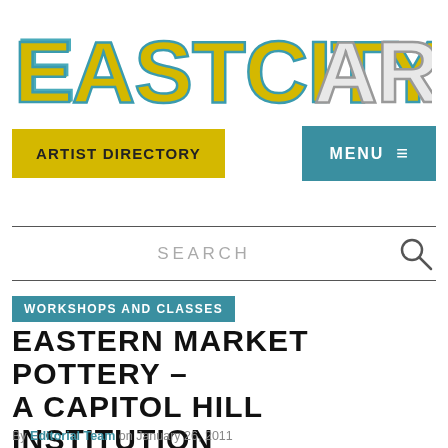[Figure (logo): EastCityArt logo in large retro block letters, 'EASTCITY' in teal/yellow and 'ART' in white/gray outline style]
ARTIST DIRECTORY
MENU ≡
SEARCH
WORKSHOPS AND CLASSES
EASTERN MARKET POTTERY – A CAPITOL HILL INSTITUTION SERVING THE COMMUNITY SINCE 1968
By Editorial Team on January 26, 2011